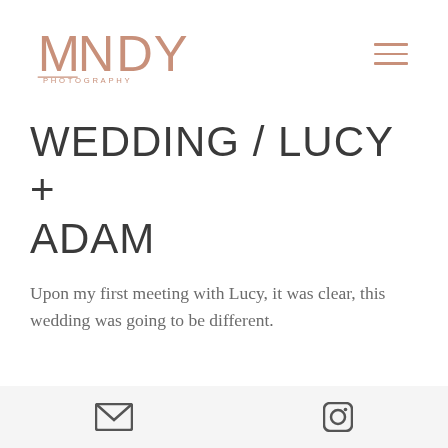[Figure (logo): MNDY Photography logo in rose/copper color with decorative underline]
WEDDING / LUCY + ADAM
Upon my first meeting with Lucy, it was clear, this wedding was going to be different.
Intimate, low key and super special.
I'm a firm believer that all weddings should be unique, for the traditionalists, the dreamers, over...